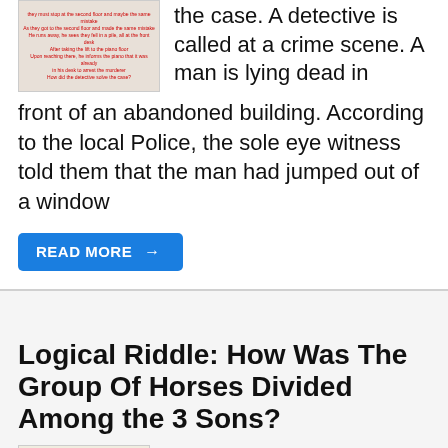[Figure (illustration): Thumbnail image showing red text on a light background, part of a riddle or puzzle article]
the case. A detective is called at a crime scene. A man is lying dead in front of an abandoned building. According to the local Police, the sole eye witness told them that the man had jumped out of a window
READ MORE →
Logical Riddle: How Was The Group Of Horses Divided Among the 3 Sons?
[Figure (illustration): Thumbnail image showing small text about a will and horses being divided among sons]
Wear your logical hats and try to